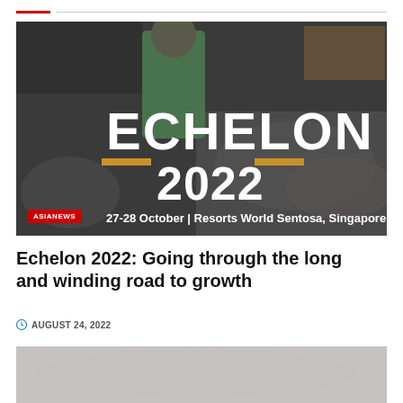[Figure (photo): Echelon 2022 event banner showing large text 'ECHELON 2022' with subtitle '27-28 October | Resorts World Sentosa, Singapore' overlaid on a photo of a conference audience with a speaker in green shirt. A red badge reading 'ASIANEWS' is in the bottom-left corner.]
Echelon 2022: Going through the long and winding road to growth
AUGUST 24, 2022
[Figure (photo): Partially visible second image at the bottom of the page, appears to be a conference or event photo with grey/light tones.]